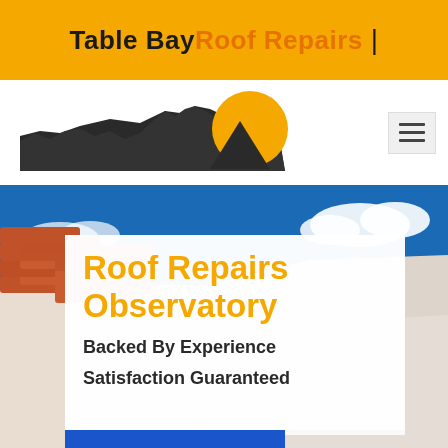Table Bay Roof Repairs |
[Figure (logo): Table Bay Roof Repairs logo: silhouette of Table Mountain in dark gray with orange sun/mountain graphic on right, text 'Table Bay Roof Repairs' below]
[Figure (photo): Hero photo of terracotta roof tiles against blue sky, with white semi-transparent overlay panel containing title and taglines]
Roof Repairs Observatory
Backed By Experience
Satisfaction Guaranteed